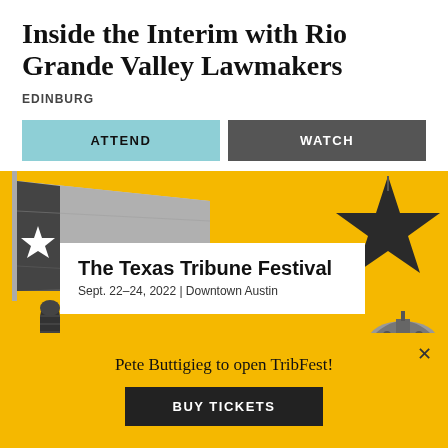Inside the Interim with Rio Grande Valley Lawmakers
EDINBURG
ATTEND
WATCH
[Figure (illustration): Texas Tribune Festival promotional banner with yellow background, Texas flag, large star, microphone, longhorn, and Capitol dome. White card overlay reads: 'The Texas Tribune Festival, Sept. 22–24, 2022 | Downtown Austin']
Pete Buttigieg to open TribFest!
BUY TICKETS